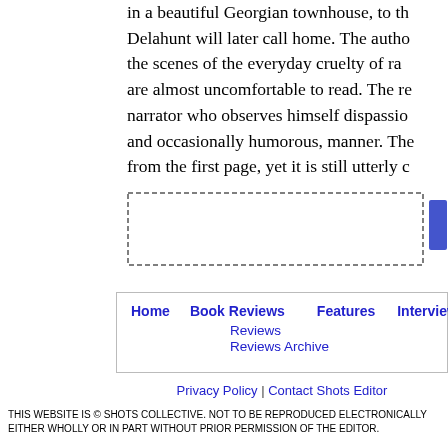in a beautiful Georgian townhouse, to the Delahunt will later call home. The author the scenes of the everyday cruelty of ra are almost uncomfortable to read. The re narrator who observes himself dispassio and occasionally humorous, manner. Th from the first page, yet it is still utterly c
[Figure (other): Dashed border box with a blue button/element on the right side, likely an advertisement placeholder]
Home   Book Reviews   Features   Interviews
Reviews
Reviews Archive
Privacy Policy | Contact Shots Editor
THIS WEBSITE IS © SHOTS COLLECTIVE. NOT TO BE REPRODUCED ELECTRONICALLY EITHER WHOLLY OR IN PART WITHOUT PRIOR PERMISSION OF THE EDITOR.